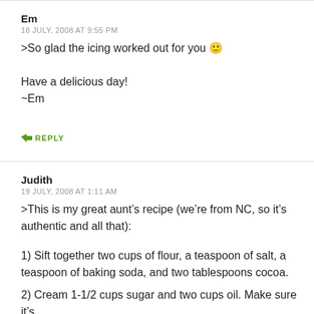Em
18 JULY, 2008 AT 9:55 PM
>So glad the icing worked out for you 🙂

Have a delicious day!
~Em
↳ REPLY
Judith
19 JULY, 2008 AT 1:11 AM
>This is my great aunt's recipe (we're from NC, so it's authentic and all that):
1) Sift together two cups of flour, a teaspoon of salt, a teaspoon of baking soda, and two tablespoons cocoa.
2) Cream 1-1/2 cups sugar and two cups oil. Make sure it's